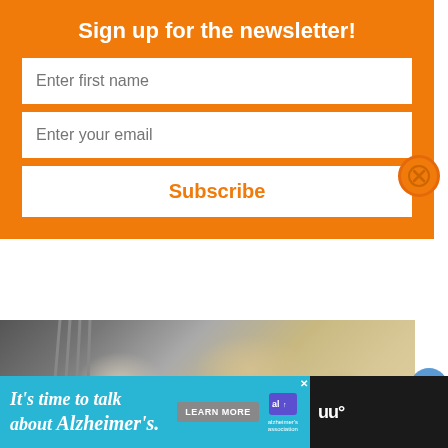Sign up for the newsletter!
Enter first name
Enter your email
Subscribe
[Figure (photo): Food photo showing a fork and food items on a plate, cropped view]
[Figure (infographic): Newsletter signup popup UI with orange background, close button (X), two input fields and subscribe button]
2
[Figure (infographic): Advertisement banner: It's time to talk about Alzheimer's. with Learn More button and Alzheimer's Association logo]